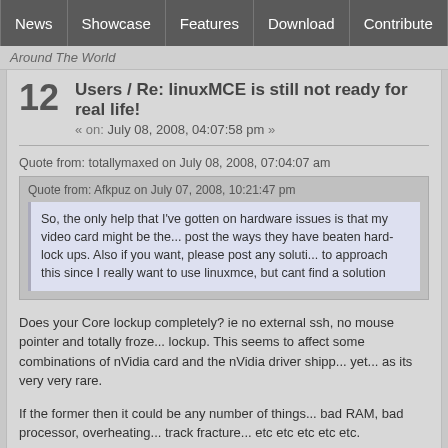News | Showcase | Features | Download | Contribute | Support
Around The World
12  Users / Re: linuxMCE is still not ready for real life!
« on: July 08, 2008, 04:07:58 pm »
Quote from: totallymaxed on July 08, 2008, 07:04:07 am
Quote from: Afkpuz on July 07, 2008, 10:21:47 pm
So, the only help that I've gotten on hardware issues is that my video card might be the... post the ways they have beaten hard-lock ups.  Also if you want, please post any soluti... to approach this since I really want to use linuxmce, but cant find a solution
Does your Core lockup completely? ie no external ssh, no mouse pointer and totally froze... lockup. This seems to affect some combinations of nVidia card and the nVidia driver shipp... yet... as its very very rare.

If the former then it could be any number of things... bad RAM, bad processor, overheating... track fracture... etc etc etc etc etc.

Hope this helps

All the best

Andrew